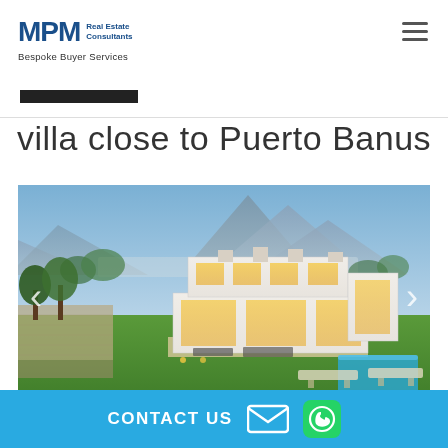MPM Real Estate Consultants — Bespoke Buyer Services
villa close to Puerto Banus
[Figure (photo): Aerial/elevated photo of a modern white villa with large glass windows, illuminated interior, surrounded by lush greenery, with a mountain range and cityscape in the background at dusk.]
CONTACT US